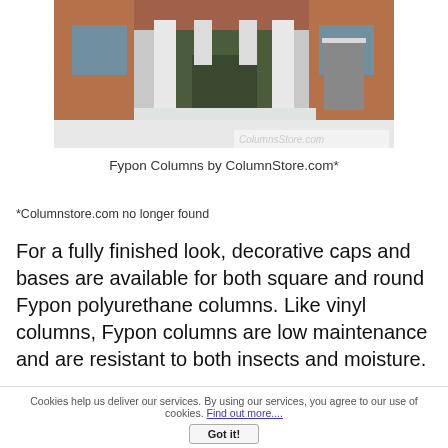[Figure (photo): Photograph of a brick house exterior in winter/snow, with white decorative columns on the porch. Watermark text 'ColumnsStore.com' visible in lower right of image.]
Fypon Columns by ColumnStore.com*
*Columnstore.com no longer found
For a fully finished look, decorative caps and bases are available for both square and round Fypon polyurethane columns. Like vinyl columns, Fypon columns are low maintenance and are resistant to both insects and moisture.
Cookies help us deliver our services. By using our services, you agree to our use of cookies. Find out more.... Got it!